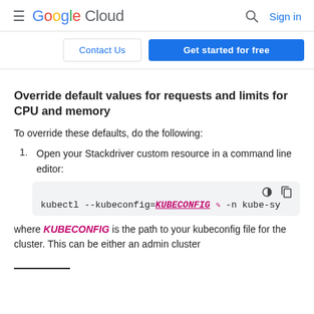Google Cloud — Sign in
Contact Us | Get started for free
Override default values for requests and limits for CPU and memory
To override these defaults, do the following:
1. Open your Stackdriver custom resource in a command line editor:
kubectl --kubeconfig=KUBECONFIG -n kube-sy
where KUBECONFIG is the path to your kubeconfig file for the cluster. This can be either an admin cluster or user cluster.